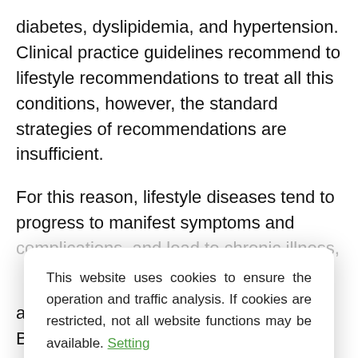diabetes, dyslipidemia, and hypertension. Clinical practice guidelines recommend to lifestyle recommendations to treat all this conditions, however, the standard strategies of recommendations are insufficient.
For this reason, lifestyle diseases tend to progress to manifest symptoms and complications, and lead to chronic illness.
This website uses cookies to ensure the operation and traffic analysis. If cookies are restricted, not all website functions may be available. Setting
around 60% of the adult population in Brno have